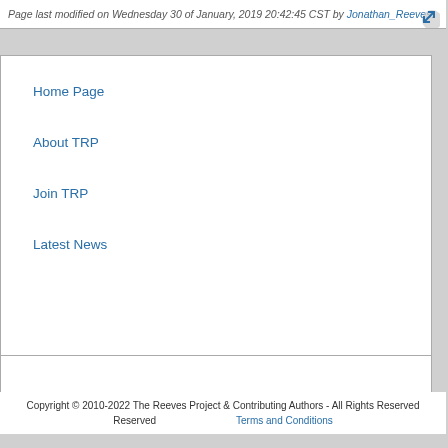Page last modified on Wednesday 30 of January, 2019 20:42:45 CST by Jonathan_Reeves.
Home Page
About TRP
Join TRP
Latest News
Copyright © 2010-2022 The Reeves Project & Contributing Authors - All Rights Reserved    Terms and Conditions